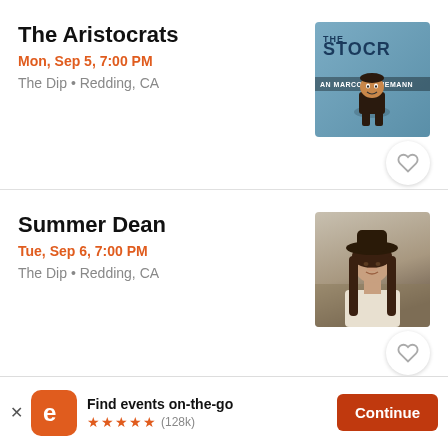The Aristocrats
Mon, Sep 5, 7:00 PM
The Dip • Redding, CA
[Figure (photo): Album or artist image for The Aristocrats showing a LEGO figure in front of a blue background with text 'THE ARISTOCRATS' and 'MARCO MINNEMANN']
Summer Dean
Tue, Sep 6, 7:00 PM
The Dip • Redding, CA
[Figure (photo): Photo of Summer Dean, a woman wearing a cowboy hat with long brown hair, standing in a field]
Find events on-the-go ★★★★★ (128k)
Continue